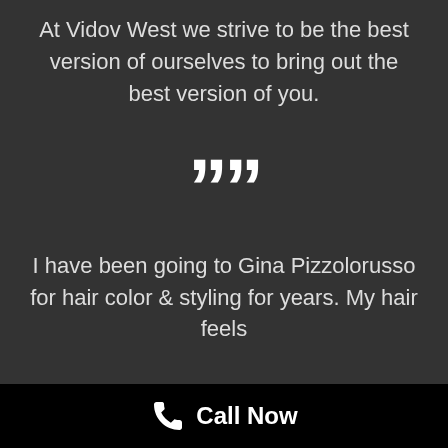At Vidov West we strive to be the best version of ourselves to bring out the best version of you.
””
I have been going to Gina Pizzolorusso for hair color & styling for years. My hair feels
Call Now